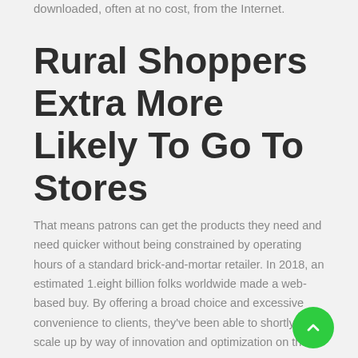downloaded, often at no cost, from the Internet.
Rural Shoppers Extra More Likely To Go To Stores
That means patrons can get the products they need and need quicker without being constrained by operating hours of a standard brick-and-mortar retailer. In 2018, an estimated 1.eight billion folks worldwide made a web-based buy. By offering a broad choice and excessive convenience to clients, they've been able to shortly scale up by way of innovation and optimization on the go.